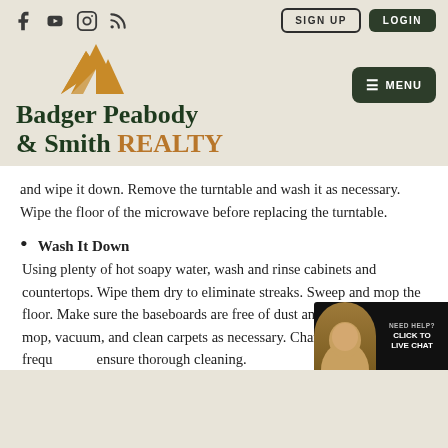Social icons: Facebook, YouTube, Instagram, RSS | Buttons: SIGN UP, LOGIN
[Figure (logo): Badger Peabody & Smith Realty logo with mountain peaks icon in gold/amber and company name in dark green serif font with REALTY in gold]
and wipe it down. Remove the turntable and wash it as necessary. Wipe the floor of the microwave before replacing the turntable.
Wash It Down
Using plenty of hot soapy water, wash and rinse cabinets and countertops. Wipe them dry to eliminate streaks. Sweep and mop the floor. Make sure the baseboards are free of dust and dirt. Sweep, mop, vacuum, and clean carpets as necessary. Change dirty water frequ... ensure thorough cleaning.